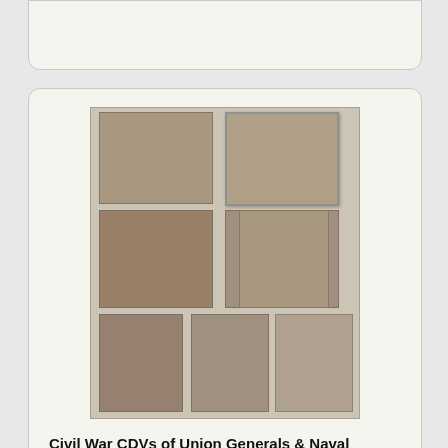[Figure (photo): Partial auction listing card, cut off at top of page]
[Figure (photo): Collage of 8 Civil War CDV portrait photographs of Union Generals and Naval Figures arranged in a 2-column grid]
Civil War CDVs of Union Generals & Naval
Civil War CDVs of Union Generals & Naval Figures Lot of 8 including: Brigadier General Abram Duryea (1815-1809) CDV by E. Anthony from a Brady negative;
[Figure (photo): Partial auction listing card at bottom showing what appears to be a framed needlework sampler]